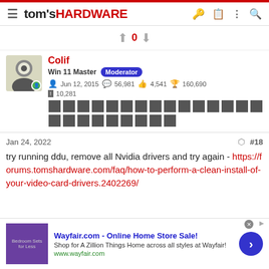tom's HARDWARE
0
Colif
Win 11 Master  Moderator
Jun 12, 2015  56,981  4,541  160,690
10,281
Jan 24, 2022  #18
try running ddu, remove all Nvidia drivers and try again - https://forums.tomshardware.com/faq/how-to-perform-a-clean-install-of-your-video-card-drivers.2402269/
Wayfair.com - Online Home Store Sale!
Shop for A Zillion Things Home across all styles at Wayfair!
www.wayfair.com